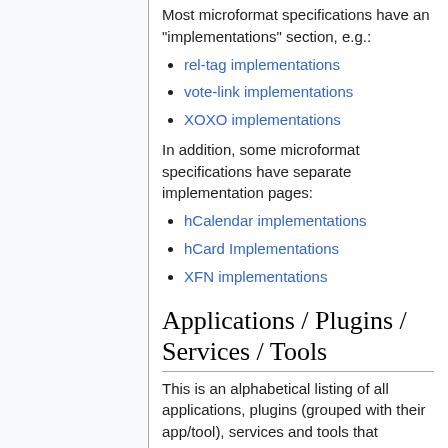Most microformat specifications have an "implementations" section, e.g.:
rel-tag implementations
vote-link implementations
XOXO implementations
In addition, some microformat specifications have separate implementation pages:
hCalendar implementations
hCard Implementations
XFN implementations
Applications / Plugins / Services / Tools
This is an alphabetical listing of all applications, plugins (grouped with their app/tool), services and tools that implement microformats, along with the list of microformats that are supported